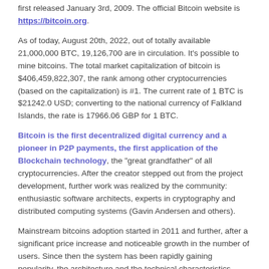first released January 3rd, 2009. The official Bitcoin website is https://bitcoin.org.
As of today, August 20th, 2022, out of totally available 21,000,000 BTC, 19,126,700 are in circulation. It's possible to mine bitcoins. The total market capitalization of bitcoin is $406,459,822,307, the rank among other cryptocurrencies (based on the capitalization) is #1. The current rate of 1 BTC is $21242.0 USD; converting to the national currency of Falkland Islands, the rate is 17966.06 GBP for 1 BTC.
Bitcoin is the first decentralized digital currency and a pioneer in P2P payments, the first application of the Blockchain technology, the "great grandfather" of all cryptocurrencies. After the creator stepped out from the project development, further work was realized by the community: enthusiastic software architects, experts in cryptography and distributed computing systems (Gavin Andersen and others).
Mainstream bitcoins adoption started in 2011 and further, after a significant price increase and noticeable growth in the number of users. Since then the system has been rapidly gaining popularity, the architecture and the technical characteristics (network stability and the security, transaction processing capacity, the processing fees, etc) are constantly improved, new technologies are introduced.
DID YOU KNOW THAT: